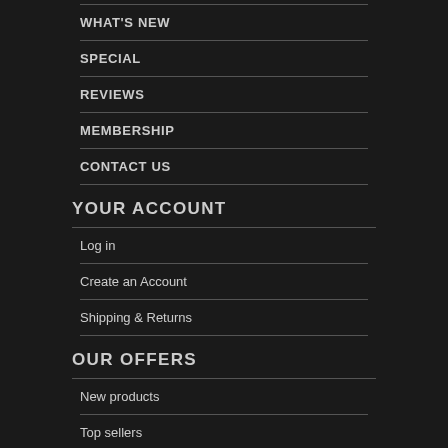WHAT'S NEW
SPECIAL
REVIEWS
MEMBERSHIP
CONTACT US
YOUR ACCOUNT
Log in
Create an Account
Shipping & Returns
OUR OFFERS
New products
Top sellers